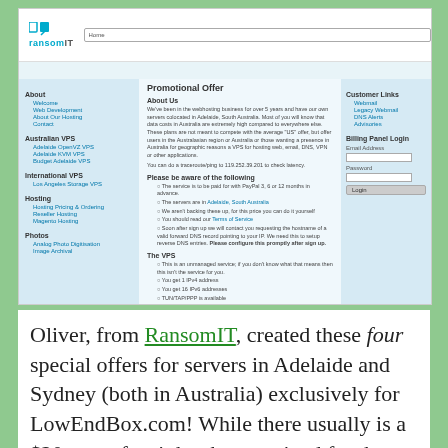[Figure (screenshot): Screenshot of RansomIT website showing navigation menu on left (About, Australian VPS, International VPS, Hosting, Photos), a central content area with 'Promotional Offer' page about their VPS service in Adelaide, South Australia, and a right sidebar with Customer Links and Billing Panel Login.]
Oliver, from RansomIT, created these four special offers for servers in Adelaide and Sydney (both in Australia) exclusively for LowEndBox.com! While there usually is a $20 setup fee, it has been waived for these offers. The coupon code to remove the setup fee can be found below the offers. Ransom IT has been